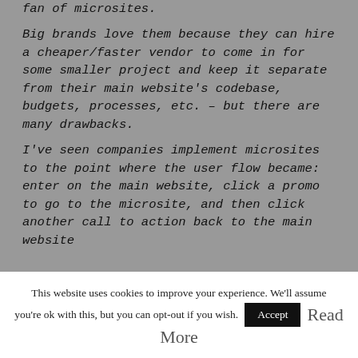fan of microsites.
Big brands love them because they can hire a cheaper/faster vendor to come in for some smaller project and keep it separate from their main website's codebase, budgets, processes, etc. – but there are many drawbacks.
I've seen companies implement microsites to the point where the user flow became: enter on the main website, click a promo to go to the microsite, and then click another call to action back to the main website
This website uses cookies to improve your experience. We'll assume you're ok with this, but you can opt-out if you wish. Accept Read More